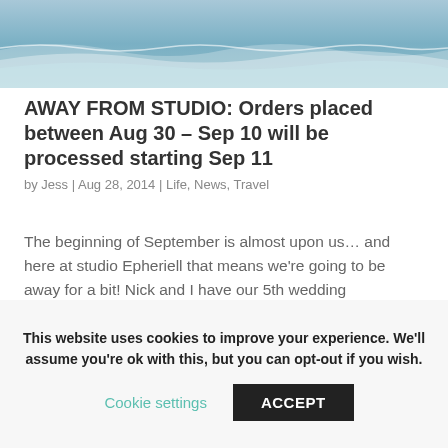[Figure (photo): Beach/ocean scene with waves and sky, watermark reading Epheriell.com]
AWAY FROM STUDIO: Orders placed between Aug 30 – Sep 10 will be processed starting Sep 11
by Jess | Aug 28, 2014 | Life, News, Travel
The beginning of September is almost upon us… and here at studio Epheriell that means we're going to be away for a bit! Nick and I have our 5th wedding anniversary nextÂ month (yay!) on the 26th – and earlier this year we scored a Groupon deal for 3...
This website uses cookies to improve your experience. We'll assume you're ok with this, but you can opt-out if you wish.
Cookie settings | ACCEPT